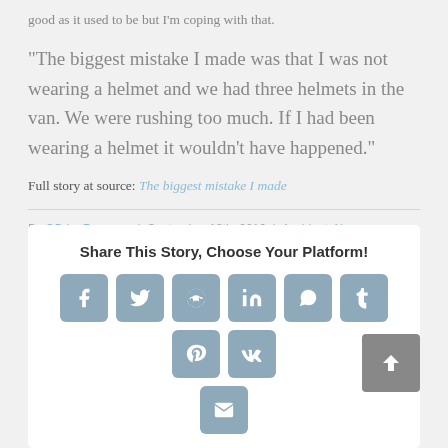good as it used to be but I'm coping with that.
“The biggest mistake I made was that I was not wearing a helmet and we had three helmets in the van. We were rushing too much. If I had been wearing a helmet it wouldn’t have happened.”
Full story at source: The biggest mistake I made
By OBrienRonayne | September 13th, 2016 | Accident, News
Share This Story, Choose Your Platform!
[Figure (infographic): Social sharing buttons: Facebook, Twitter, Reddit, LinkedIn, WhatsApp, Tumblr, Pinterest, VKontakte, Email]